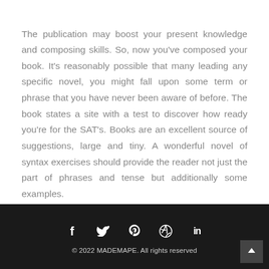The publication may boost your present knowledge and composing skills. So, now you've composed your book. It's reasonably possible that many leading any specific novel, you might fall upon some term or phrase that you have never been aware of before. The book states a site with a test to discover how ready you're for the SAT's. Books are an excellent source of suggestions, large and tiny. A wonderful novel of syntax exercises should provide the reader not just the part of phrases and tense but additionally some examples.
© 2022 MADEMAPE. All rights reserved